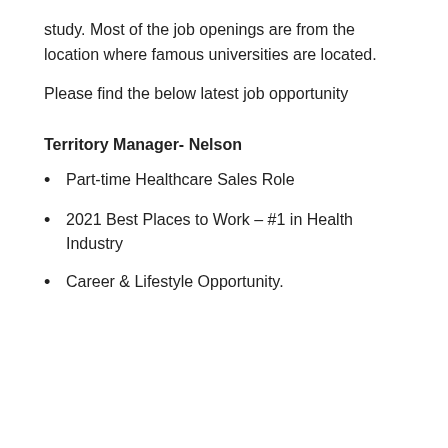study. Most of the job openings are from the location where famous universities are located.
Please find the below latest job opportunity
Territory Manager- Nelson
Part-time Healthcare Sales Role
2021 Best Places to Work – #1 in Health Industry
Career & Lifestyle Opportunity.